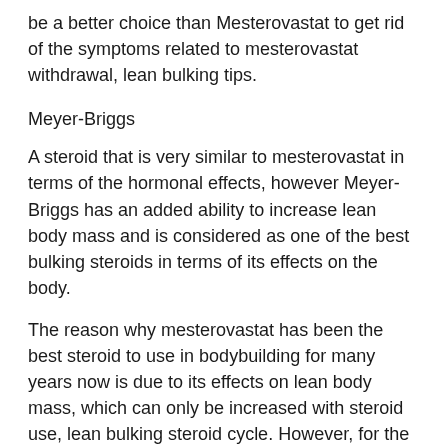be a better choice than Mesterovastat to get rid of the symptoms related to mesterovastat withdrawal, lean bulking tips.
Meyer-Briggs
A steroid that is very similar to mesterovastat in terms of the hormonal effects, however Meyer-Briggs has an added ability to increase lean body mass and is considered as one of the best bulking steroids in terms of its effects on the body.
The reason why mesterovastat has been the best steroid to use in bodybuilding for many years now is due to its effects on lean body mass, which can only be increased with steroid use, lean bulking steroid cycle. However, for the majority of